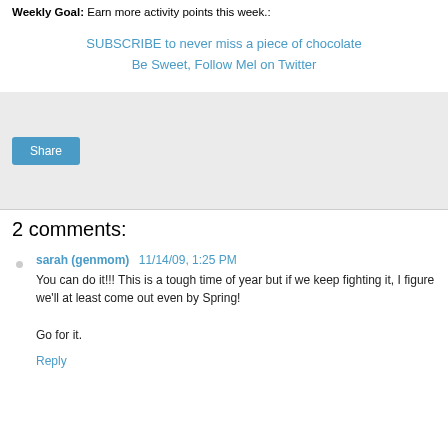Weekly Goal: Earn more activity points this week.:
SUBSCRIBE to never miss a piece of chocolate
Be Sweet, Follow Mel on Twitter
[Figure (other): Share button widget area with light gray background]
2 comments:
sarah (genmom) 11/14/09, 1:25 PM
You can do it!!! This is a tough time of year but if we keep fighting it, I figure we'll at least come out even by Spring!

Go for it.
Reply